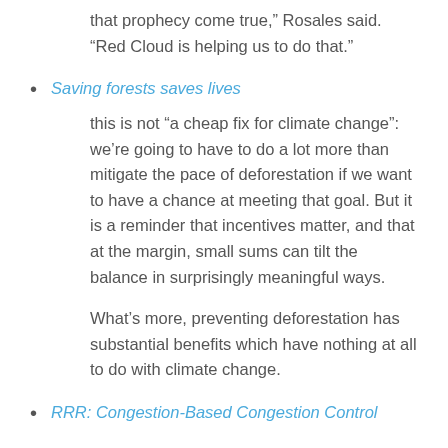that prophecy come true,” Rosales said. “Red Cloud is helping us to do that.”
Saving forests saves lives
this is not “a cheap fix for climate change”: we’re going to have to do a lot more than mitigate the pace of deforestation if we want to have a chance at meeting that goal. But it is a reminder that incentives matter, and that at the margin, small sums can tilt the balance in surprisingly meaningful ways.
What’s more, preventing deforestation has substantial benefits which have nothing at all to do with climate change.
RRR: Congestion-Based Congestion Control